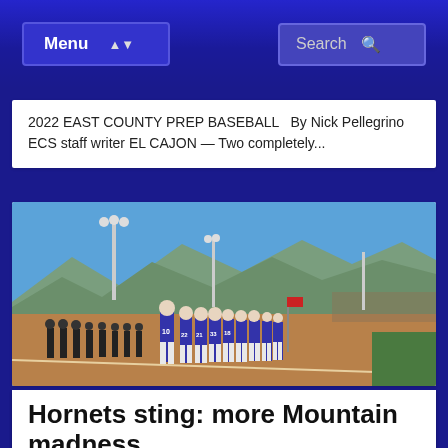Menu | Search
2022 EAST COUNTY PREP BASEBALL   By Nick Pellegrino ECS staff writer EL CAJON — Two completely...
[Figure (photo): Baseball players lined up on a dirt baseball field facing away from the camera, wearing blue jerseys with white pants and numbers (10, 22, 21, 33, 18, etc.), with stadium lights, mountains, and a clear blue sky in the background.]
Hornets sting: more Mountain madness
2022 EAST COUNTY PREP BASEBALL   By Nick Pellegrino CS staff writer EL CAJON — Through decades...